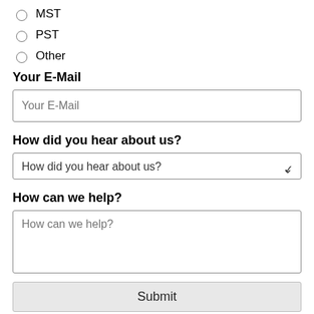MST
PST
Other
Your E-Mail
Your E-Mail (input placeholder)
How did you hear about us?
How did you hear about us? (dropdown)
How can we help?
How can we help? (textarea placeholder)
Submit